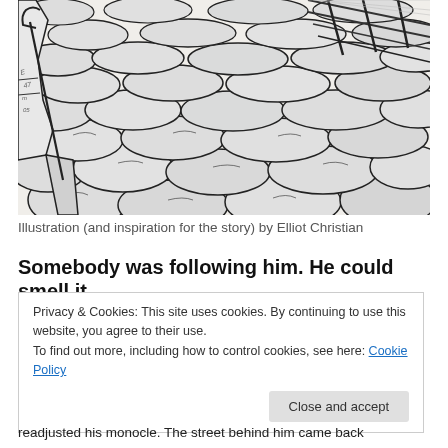[Figure (illustration): Black and white pen illustration of a cobblestone street scene. On the left side, the bottom of a figure wearing a coat and holding a cane/umbrella is visible. The street is filled with large, rounded cobblestones drawn with expressive ink lines. In the upper right, diagonal hatching suggests a fence or railing.]
Illustration (and inspiration for the story) by Elliot Christian
Somebody was following him. He could smell it.
Privacy & Cookies: This site uses cookies. By continuing to use this website, you agree to their use.
To find out more, including how to control cookies, see here: Cookie Policy
readjusted his monocle. The street behind him came back